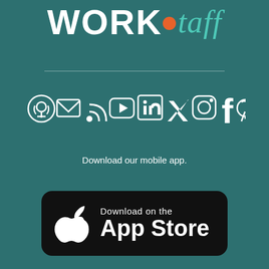[Figure (logo): WorkStaff logo with orange dot between WORK and script-style taff in teal]
[Figure (infographic): Row of social media icons: podcast, email, RSS, YouTube, LinkedIn, Twitter, Instagram, Facebook, Pinterest — all white on teal background]
Download our mobile app.
[Figure (infographic): Download on the App Store button — black rounded rectangle with white Apple logo and text 'Download on the App Store']